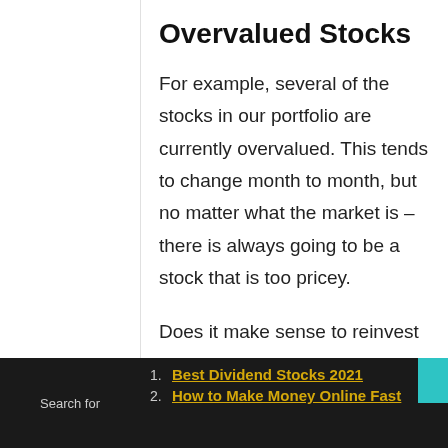Overvalued Stocks
For example, several of the stocks in our portfolio are currently overvalued. This tends to change month to month, but no matter what the market is – there is always going to be a stock that is too pricey.
Does it make sense to reinvest your dividends back into at stock that is overvalued? In some cases it may,
Search for
1. Best Dividend Stocks 2021
2. How to Make Money Online Fast